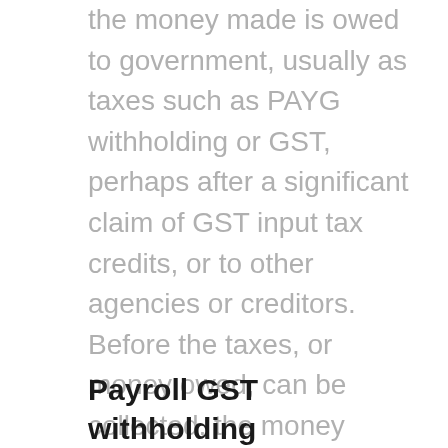the money made is owed to government, usually as taxes such as PAYG withholding or GST, perhaps after a significant claim of GST input tax credits, or to other agencies or creditors. Before the taxes, or money owed, can be collected, the money made by the entity is stripped from the entity by the controllers of the entity. The controllers can then rise from the ashes, phoenix like, with a new entity which can again make money for the controllers in the same way and can again be stripped of money owed to government, agencies and creditors by them.
Payroll GST withholding...